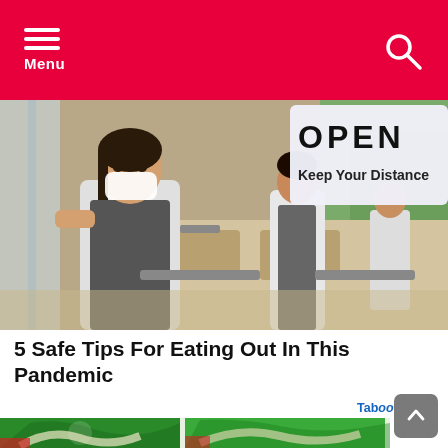Menu
[Figure (photo): Restaurant interior with a masked waitress in foreground and staff in background. A sign in the upper right reads 'OPEN' and 'Keep Your Distance'.]
5 Safe Tips For Eating Out In This Pandemic
Taboola Feed
[Figure (photo): Bottom strip showing colorful food/logo imagery in green and red tones.]